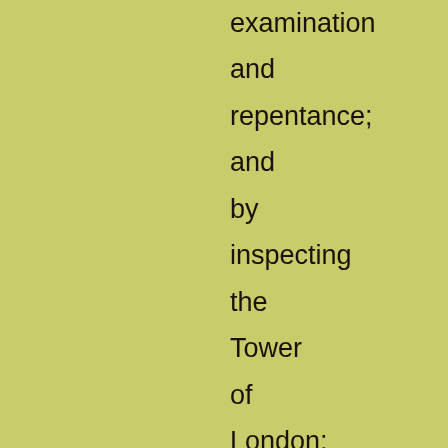examination and repentance; and by inspecting the Tower of London; and going to the top of St. Paul's. All these wonders